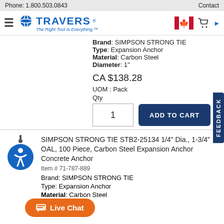Phone: 1.800.503.0843    Contact
[Figure (logo): Travers Tool Co. logo with tagline 'The Right Tool Is Everything.' and navigation icons including Canadian flag and shopping cart]
Brand: SIMPSON STRONG TIE
Type: Expansion Anchor
Material: Carbon Steel
Diameter: 1"
CA $138.28
UOM : Pack
Qty
1   ADD TO CART
SIMPSON STRONG TIE STB2-25134 1/4" Dia., 1-3/4" OAL, 100 Piece, Carbon Steel Expansion Anchor Concrete Anchor
Item # 71-787-889
Brand: SIMPSON STRONG TIE
Type: Expansion Anchor
Material: Carbon Steel